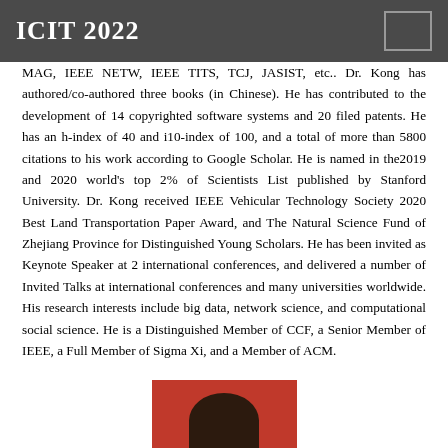ICIT 2022
MAG, IEEE NETW, IEEE TITS, TCJ, JASIST, etc.. Dr. Kong has authored/co-authored three books (in Chinese). He has contributed to the development of 14 copyrighted software systems and 20 filed patents. He has an h-index of 40 and i10-index of 100, and a total of more than 5800 citations to his work according to Google Scholar. He is named in the2019 and 2020 world's top 2% of Scientists List published by Stanford University. Dr. Kong received IEEE Vehicular Technology Society 2020 Best Land Transportation Paper Award, and The Natural Science Fund of Zhejiang Province for Distinguished Young Scholars. He has been invited as Keynote Speaker at 2 international conferences, and delivered a number of Invited Talks at international conferences and many universities worldwide. His research interests include big data, network science, and computational social science. He is a Distinguished Member of CCF, a Senior Member of IEEE, a Full Member of Sigma Xi, and a Member of ACM.
[Figure (photo): Partial photo of a person appearing at the bottom of the page, showing the top of a head against a red background]